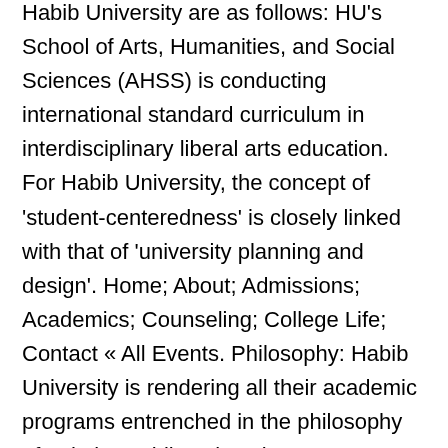Habib University are as follows: HU's School of Arts, Humanities, and Social Sciences (AHSS) is conducting international standard curriculum in interdisciplinary liberal arts education. For Habib University, the concept of 'student-centeredness' is closely linked with that of 'university planning and design'. Home; About; Admissions; Academics; Counseling; College Life; Contact « All Events. Philosophy: Habib University is rendering all their academic programs entrenched in the philosophy of Yohsin. Habib University Intranet Portal is a gateway for current students, faculties and staff members to securely access technology applications, forms, announcements, policies, guides, events, business units and many more stuff. Job seekers today, especially our graduating grad students, are searching in an unprecedented time. His research interests include sociolinguistics, contact linguistics,